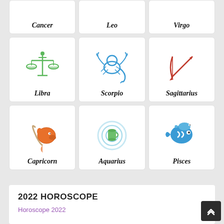[Figure (illustration): Grid of zodiac sign icons with labels. Top row (partially visible): Cancer, Leo, Virgo. Middle row: Libra, Scorpio, Sagittarius. Bottom row: Capricorn, Aquarius, Pisces.]
2022 HOROSCOPE
Horoscope 2022